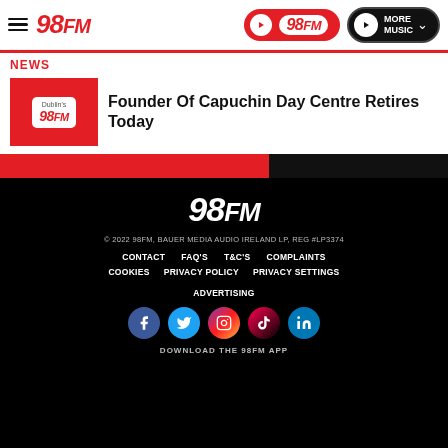98FM — Header navigation with hamburger menu, play button, 98FM logo, and MORE MUSIC button
NEWS
Founder Of Capuchin Day Centre Retires Today
[Figure (logo): 98FM logo on red background thumbnail]
© 2022 98FM, BAUER MEDIA AUDIO IRELAND LP, REG #LP3374
CONTACT
FAQ'S
T&C'S
COMPLAINTS
COOKIES
PRIVACY POLICY
PRIVACY SETTINGS
ADVERTISING
[Figure (logo): Social media icons: Facebook, Twitter, Instagram, TikTok, LinkedIn]
DOWNLOAD THE 98FM APP